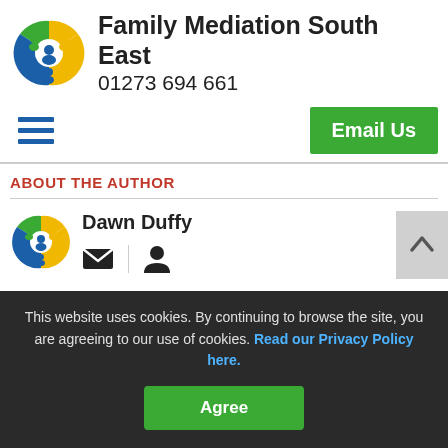[Figure (logo): Family Mediation South East circular logo with green, yellow and blue figures]
Family Mediation South East
01273 694 661
[Figure (other): Hamburger menu icon (three blue horizontal bars)]
[Figure (other): Green Email Us button]
ABOUT THE AUTHOR
[Figure (logo): Family Mediation South East small circular logo]
Dawn Duffy
[Figure (other): Email icon and person/user icon]
This website uses cookies. By continuing to browse the site, you are agreeing to our use of cookies. Read our Privacy Policy here.